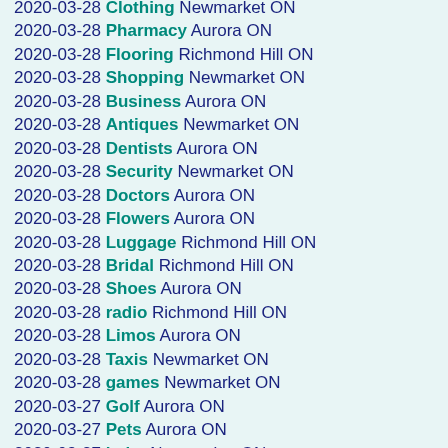2020-03-28 Clothing Newmarket ON
2020-03-28 Pharmacy Aurora ON
2020-03-28 Flooring Richmond Hill ON
2020-03-28 Shopping Newmarket ON
2020-03-28 Business Aurora ON
2020-03-28 Antiques Newmarket ON
2020-03-28 Dentists Aurora ON
2020-03-28 Security Newmarket ON
2020-03-28 Doctors Aurora ON
2020-03-28 Flowers Aurora ON
2020-03-28 Luggage Richmond Hill ON
2020-03-28 Bridal Richmond Hill ON
2020-03-28 Shoes Aurora ON
2020-03-28 radio Richmond Hill ON
2020-03-28 Limos Aurora ON
2020-03-28 Taxis Newmarket ON
2020-03-28 games Newmarket ON
2020-03-27 Golf Aurora ON
2020-03-27 Pets Aurora ON
2020-03-27 baby Newmarket ON
2020-03-27 Yoga Aurora ON
2020-03-27 Shopping Newmarket ON
2020-03-27 Games Newmarket ON